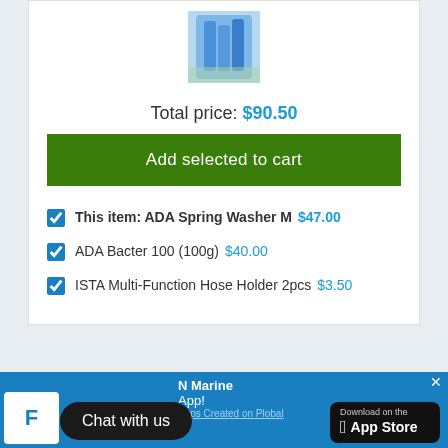[Figure (photo): Product image of ADA Spring Washer M - blue plastic clips/washer against aquarium background]
Total price: $90.50
Add selected to cart
This item: ADA Spring Washer M  $47.00
ADA Bacter 100 (100g)  $40.00
ISTA Multi-Function Hose Holder 2pcs  $3.50
[Figure (other): Five empty star rating icons]
Chat with us
N Marine App!
Apps Created on Plobal
[Figure (logo): Download on the App Store button]